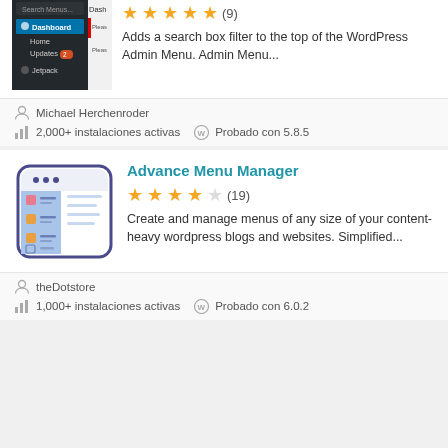[Figure (screenshot): WordPress admin dashboard screenshot showing Dashboard menu with Home, Updates, Jetpack items]
Adds a search box filter to the top of the WordPress Admin Menu. Admin Menu...
Michael Herchenroder
2,000+ instalaciones activas
Probado con 5.8.5
[Figure (illustration): Advance Menu Manager plugin icon showing a browser window with a menu list]
Advance Menu Manager
(19)
Create and manage menus of any size of your content-heavy wordpress blogs and websites. Simplified...
theDotstore
1,000+ instalaciones activas
Probado con 6.0.2